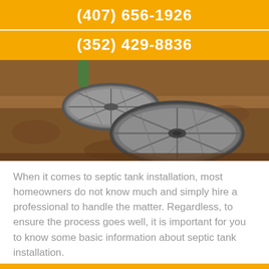(407) 656-1926
(352) 429-8836
[Figure (photo): Two round septic tank covers partially buried in reddish-brown dirt soil, photographed from above at an angle.]
When it comes to septic tank installation, most homeowners do not know much and simply hire a professional to handle the matter. Regardless, to ensure the process goes well, it is important for you to know some basic information about septic tank installation.
CALL US   MAP